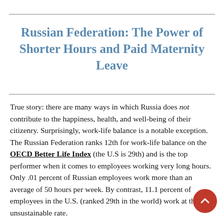Russian Federation: The Power of Shorter Hours and Paid Maternity Leave
True story: there are many ways in which Russia does not contribute to the happiness, health, and well-being of their citizenry. Surprisingly, work-life balance is a notable exception. The Russian Federation ranks 12th for work-life balance on the OECD Better Life Index (the U.S is 29th) and is the top performer when it comes to employees working very long hours. Only .01 percent of Russian employees work more than an average of 50 hours per week. By contrast, 11.1 percent of employees in the U.S. (ranked 29th in the world) work at this unsustainable rate.